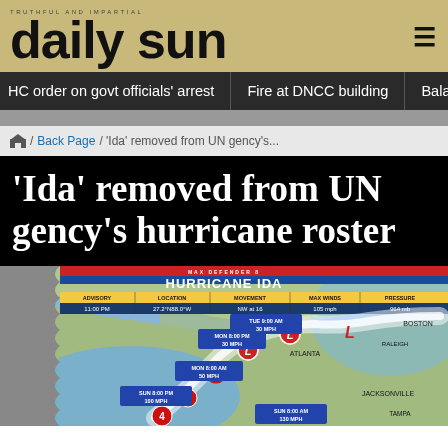daily sun — TRUTHFUL AND IMPARTIAL
HC order on govt officials' arrest | Fire at DNCC building | Balanc…
/ Back Page / 'Ida' removed from UN gency's…
'Ida' removed from UN gency's hurricane roster
[Figure (map): Hurricane Ida tracking map showing advisory info: ADVISORY 11:00 PM, LOCATION 27.2°N88.0°W, MOVEMENT NW at 16, MAX WINDS 105 mph, PRESSURE 964 mb. Track path shown from Gulf of Mexico through southeastern US with forecast positions labeled MON 8:00 AM 50 MPH, MON 8:00 PM 30 MPH, TUE 9:00 AM 30 MPH, SUN 8:00 PM 100 MPH, SUN 8:00 AM 130 MPH. Cities labeled include Atlanta, Jacksonville, Boston area, Tampa.]